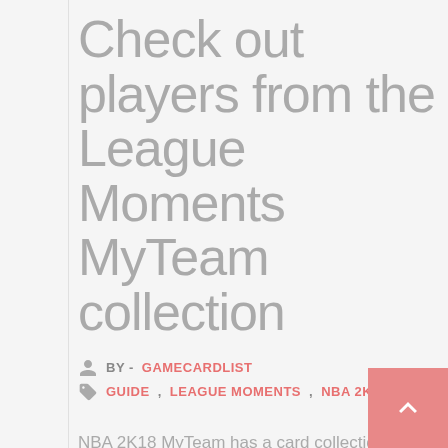Check out players from the League Moments MyTeam collection
BY - GAMECARDLIST
GUIDE, LEAGUE MOMENTS, NBA 2K18
NBA 2K18 MyTeam has a card collection called League Moments. Cards that are found in this collection represent basketball players who managed to have great games during the NBA season. Here